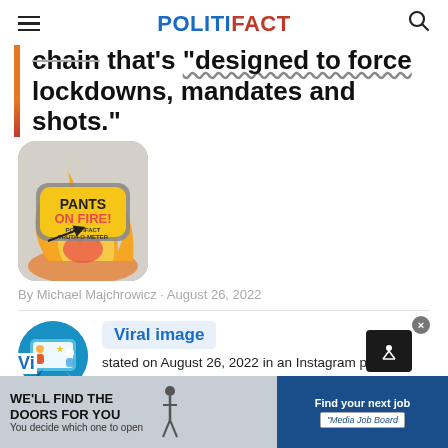POLITIFACT
chain that's designed to force lockdowns, mandates and shots."
[Figure (illustration): Pants on Fire! PolitiFact Truth-O-Meter badge with flames illustration]
By Michael Majchrowicz · August 26, 2022
Viral image
stated on August 26, 2022 in an Instagram post:
[Figure (illustration): Viral image source avatar icon with quote marks]
[Figure (screenshot): Advertisement banner: WE'LL FIND THE DOORS FOR YOU / You decide which one to open; Find your next job / Media Job Board]
Vi